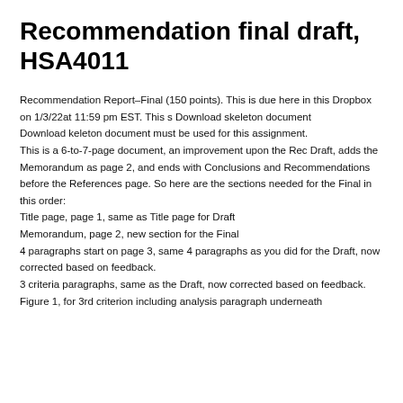Recommendation final draft, HSA4011
Recommendation Report–Final (150 points). This is due here in this Dropbox on 1/3/22at 11:59 pm EST. This s Download skeleton document
Download keleton document must be used for this assignment.
This is a 6-to-7-page document, an improvement upon the Rec Draft, adds the Memorandum as page 2, and ends with Conclusions and Recommendations before the References page. So here are the sections needed for the Final in this order:
Title page, page 1, same as Title page for Draft
Memorandum, page 2, new section for the Final
4 paragraphs start on page 3, same 4 paragraphs as you did for the Draft, now corrected based on feedback.
3 criteria paragraphs, same as the Draft, now corrected based on feedback.
Figure 1, for 3rd criterion including analysis paragraph underneath